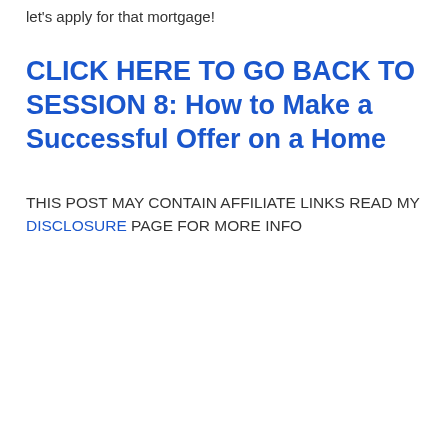let's apply for that mortgage!
CLICK HERE TO GO BACK TO SESSION 8: How to Make a Successful Offer on a Home
THIS POST MAY CONTAIN AFFILIATE LINKS READ MY DISCLOSURE PAGE FOR MORE INFO